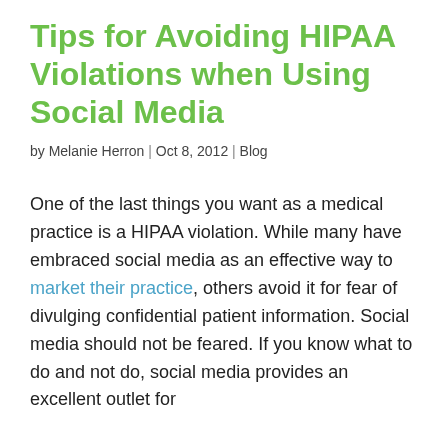Tips for Avoiding HIPAA Violations when Using Social Media
by Melanie Herron | Oct 8, 2012 | Blog
One of the last things you want as a medical practice is a HIPAA violation. While many have embraced social media as an effective way to market their practice, others avoid it for fear of divulging confidential patient information. Social media should not be feared. If you know what to do and not do, social media provides an excellent outlet for